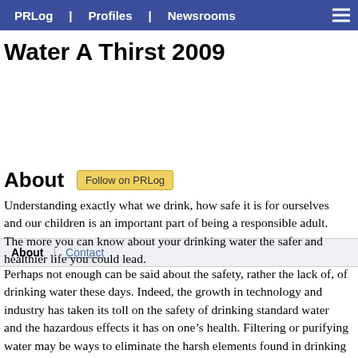PRLog | Profiles | Newsrooms
Water A Thirst 2009
About | Contact
About
Understanding exactly what we drink, how safe it is for ourselves and our children is an important part of being a responsible adult. The more you can know about your drinking water the safer and healthier life you could lead.
Perhaps not enough can be said about the safety, rather the lack of, of drinking water these days. Indeed, the growth in technology and industry has taken its toll on the safety of drinking standard water and the hazardous effects it has on one’s health. Filtering or purifying water may be ways to eliminate the harsh elements found in drinking water to make it safe, acceptable and fit for consumption. It is for this reason that the government and water associations came up with guidelines to measure water standards prior to the distribution of safe